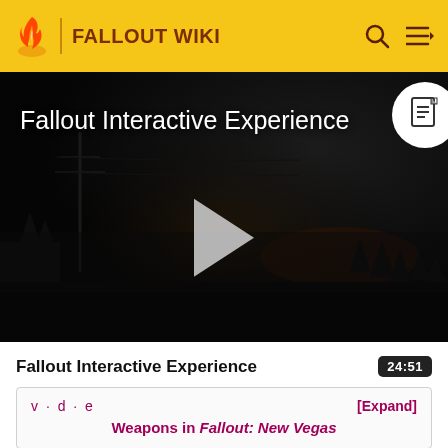FALLOUT WIKI
[Figure (screenshot): Dark post-apocalyptic video thumbnail with title 'Fallout Interactive Experience' and a play button in the center. A document icon is in the top right corner.]
Fallout Interactive Experience  24:51
v · d · e  [Expand]
Weapons in Fallout: New Vegas